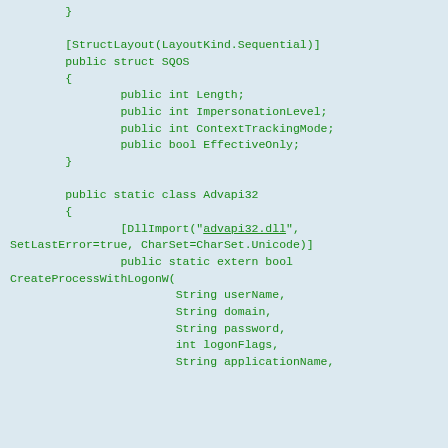}

[StructLayout(LayoutKind.Sequential)]
public struct SQOS
{
    public int Length;
    public int ImpersonationLevel;
    public int ContextTrackingMode;
    public bool EffectiveOnly;
}

public static class Advapi32
{
    [DllImport("advapi32.dll",
SetLastError=true, CharSet=CharSet.Unicode)]
            public static extern bool
CreateProcessWithLogonW(
                    String userName,
                    String domain,
                    String password,
                    int logonFlags,
                    String applicationName,